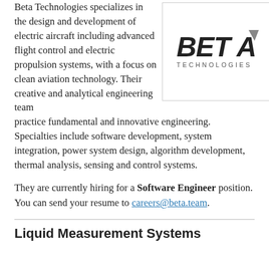Beta Technologies specializes in the design and development of electric aircraft including advanced flight control and electric propulsion systems, with a focus on clean aviation technology. Their creative and analytical engineering team practice fundamental and innovative engineering. Specialties include software development, system integration, power system design, algorithm development, thermal analysis, sensing and control systems.
[Figure (logo): Beta Technologies logo — bold italic BETA text with a stylized A, and TECHNOLOGIES in spaced small caps below]
They are currently hiring for a Software Engineer position. You can send your resume to careers@beta.team.
Liquid Measurement Systems